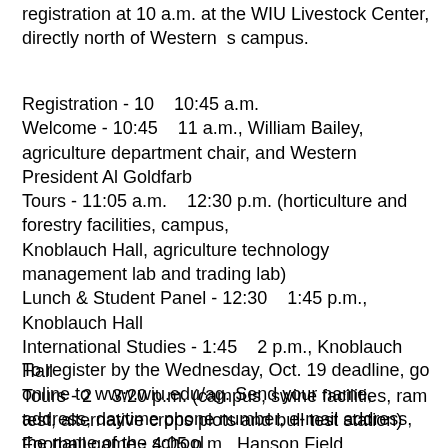registration at 10 a.m. at the WIU Livestock Center, directly north of Western  s campus.
Registration - 10    10:45 a.m.
Welcome - 10:45    11 a.m., William Bailey, agriculture department chair, and Western President Al Goldfarb
Tours - 11:05 a.m.    12:30 p.m. (horticulture and forestry facilities, campus,
Knoblauch Hall, agriculture technology management lab and trading lab)
Lunch & Student Panel - 12:30    1:45 p.m., Knoblauch Hall
International Studies - 1:45    2 p.m., Knoblauch Hall
Tours - 2    3:20 p.m. (campus, swine facilities, ram test, alternative crops plots and bull test station)
Football game - 4:05 p.m., Hanson Field
To register by the Wednesday, Oct. 19 deadline, go online to www.wiu.edu/ag. Send your name, address, daytime phone number, e-mail address, the name of the school